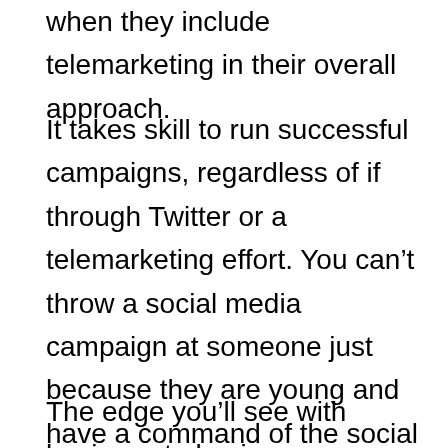when they include telemarketing in their overall approach.
It takes skill to run successful campaigns, regardless of if through Twitter or a telemarketing effort. You can’t throw a social media campaign at someone just because they are young and have a command of the social media spectrum – it takes a consistent and focused effort to keep all aspects of the campaign on track. At the same time, you don’t want to pit a few employees together in an in-house telemarketing effort – you need a third party call center to handle all the specifics that go with a well-groomed call campaign.
The edge you’ll see with business to business telemarketing that you won’t find in social media is the ability to have a private and effective